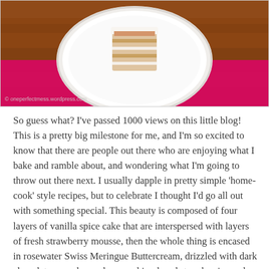[Figure (photo): A white plate with a slice of layered cake on a pink napkin/mat against a wooden table background. Watermark: © oneperfectmess.wordpress.com]
So guess what? I've passed 1000 views on this little blog! This is a pretty big milestone for me, and I'm so excited to know that there are people out there who are enjoying what I bake and ramble about, and wondering what I'm going to throw out there next. I usually dapple in pretty simple 'home-cook' style recipes, but to celebrate I thought I'd go all out with something special. This beauty is composed of four layers of vanilla spice cake that are interspersed with layers of fresh strawberry mousse, then the whole thing is encased in rosewater Swiss Meringue Buttercream, drizzled with dark chocolate ganache, and covered in glazed strawberries and chopped pistachio nuts. Are you tempted yet?